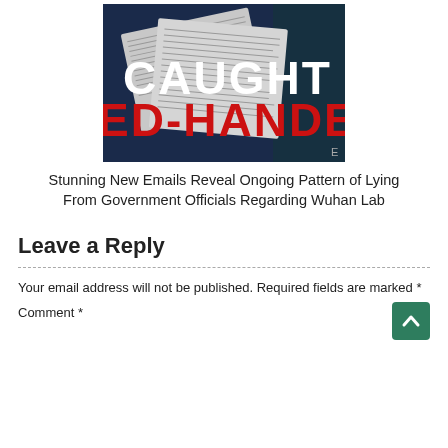[Figure (photo): Book/article cover image showing papers with bold text 'CAUGHT' in white and 'ED-HANDE' in red on a dark blue background]
Stunning New Emails Reveal Ongoing Pattern of Lying From Government Officials Regarding Wuhan Lab
Leave a Reply
Your email address will not be published. Required fields are marked *
Comment *